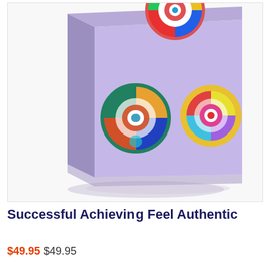[Figure (photo): A lavender/purple book cover standing upright with three colorful circular target/spiral designs on it. The book is shown in a 3D perspective against a white background with a soft shadow beneath it.]
Successful Achieving Feel Authentic
$49.95 $49.95